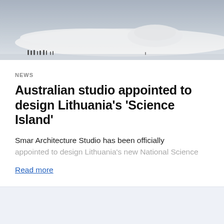[Figure (photo): Aerial or architectural photograph of a modern building structure, likely the Lithuania Science Island project, with curved white forms visible against a pale sky, with small human silhouettes visible at the bottom left.]
NEWS
Australian studio appointed to design Lithuania's 'Science Island'
Smar Architecture Studio has been officially appointed to design Lithuania's new National Science
Read more